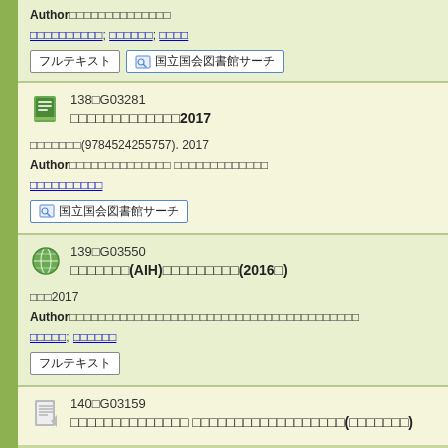Author□□□□□□□□□□□□□□
□□□□□□□□□□; □□□□□□; □□□□
138□G03281
□□□□□□□□□□□□□2017
□□□□□□□(9784524255757). 2017
Author□□□□□□□□□□□□□□ □□□□□□□□□□□□□
□□□□□□□□□□
139□G03550
□□□□□□□(AIH)□□□□□□□□□(2016□)
□□□2017
Author□□□□□□□□□□□□□□□□□□□□□□□□□□□□□□□□□□□□□□□□
□□□□□; □□□□□□
140□G03159
□□□□□□□□□□□□□□ □□□□□□□□□□□□□□□□□□(□□□□□□□)